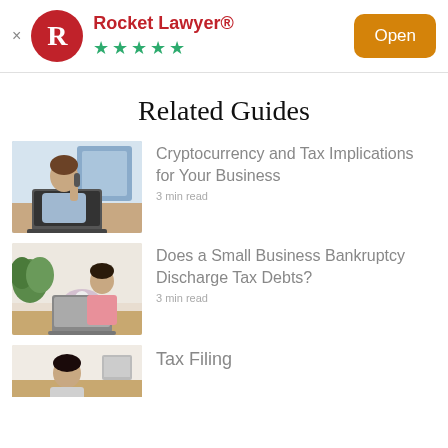[Figure (logo): Rocket Lawyer app banner with red R logo, 5 green stars, and orange Open button]
Related Guides
[Figure (photo): Man sitting at desk on phone looking stressed, with laptop]
Cryptocurrency and Tax Implications for Your Business
3 min read
[Figure (photo): Woman working on laptop in flower shop]
Does a Small Business Bankruptcy Discharge Tax Debts?
3 min read
[Figure (photo): Woman at desk, partial view]
Tax Filing